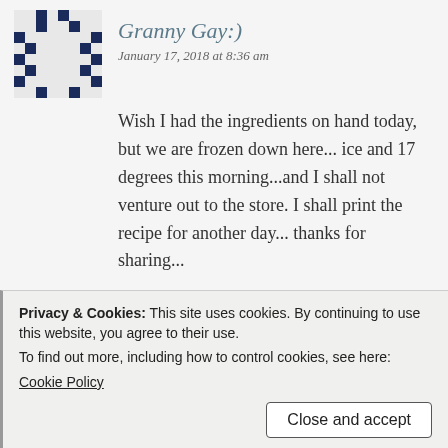[Figure (illustration): Pixelated/mosaic avatar icon in dark blue and white geometric pattern]
Granny Gay:)
January 17, 2018 at 8:36 am
Wish I had the ingredients on hand today, but we are frozen down here... ice and 17 degrees this morning...and I shall not venture out to the store. I shall print the recipe for another day... thanks for sharing...
Loading...
Reply
Privacy & Cookies: This site uses cookies. By continuing to use this website, you agree to their use.
To find out more, including how to control cookies, see here:
Cookie Policy
Close and accept